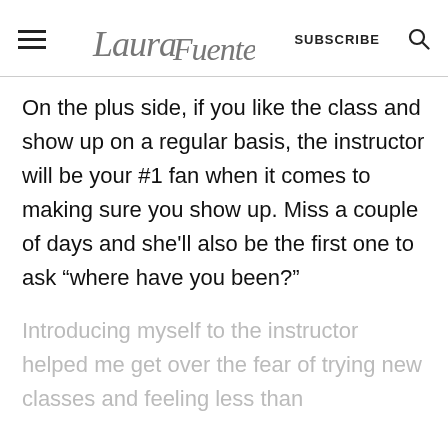Laura Fuentes | SUBSCRIBE
On the plus side, if you like the class and show up on a regular basis, the instructor will be your #1 fan when it comes to making sure you show up. Miss a couple of days and she'll also be the first one to ask “where have you been?”
Introducing myself to the instructor helped me get over the fear of trying new classes and feeling less than